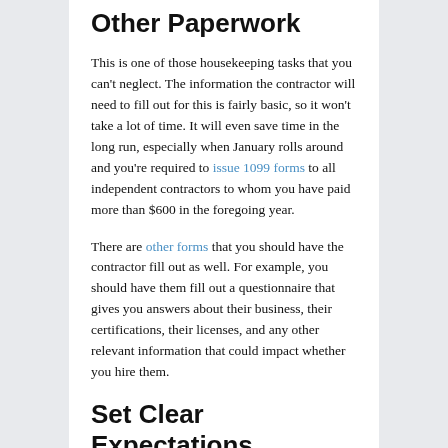Other Paperwork
This is one of those housekeeping tasks that you can't neglect. The information the contractor will need to fill out for this is fairly basic, so it won't take a lot of time. It will even save time in the long run, especially when January rolls around and you're required to issue 1099 forms to all independent contractors to whom you have paid more than $600 in the foregoing year.
There are other forms that you should have the contractor fill out as well. For example, you should have them fill out a questionnaire that gives you answers about their business, their certifications, their licenses, and any other relevant information that could impact whether you hire them.
Set Clear Expectations